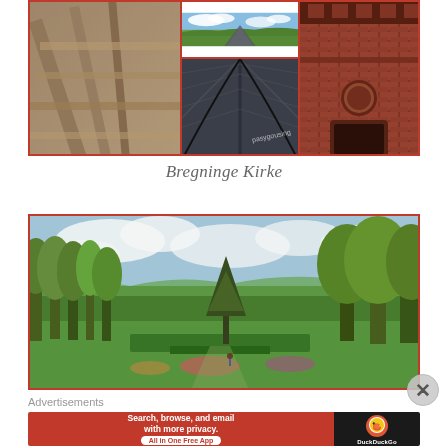[Figure (photo): Collage of three images of Bregninge Kirke: left panel shows interior wooden roof beams, center top shows aerial view of green landscape, center bottom shows close-up of slate roof ridge, right panel shows brick church tower with circular window. Orange/red border surrounds the collage.]
Bregninge Kirke
[Figure (photo): Wide panoramic photo of a garden with green trees, manicured hedges, flowerbeds, and lawn. Blue sky with clouds in background, distant landscape visible. Orange/red border.]
Advertisements
[Figure (screenshot): DuckDuckGo advertisement banner. Left side (red background): 'Search, browse, and email with more privacy. All in One Free App'. Right side (dark background): DuckDuckGo logo (duck icon) and text 'DuckDuckGo'.]